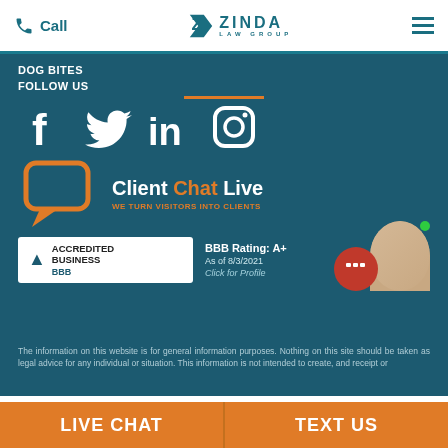Call | Zinda Law Group | (menu)
DOG BITES
FOLLOW US
[Figure (other): Social media icons: Facebook, Twitter, LinkedIn, Instagram]
[Figure (logo): Client Chat Live logo: orange speech bubble with 'Client Chat Live - WE TURN VISITORS INTO CLIENTS']
[Figure (logo): BBB Accredited Business badge with BBB Rating: A+ as of 8/3/2021 Click for Profile, and live chat widget with blonde woman headset]
The information on this website is for general information purposes. Nothing on this site should be taken as legal advice for any individual or situation. This information is not intended to create, and receipt or
LIVE CHAT | TEXT US